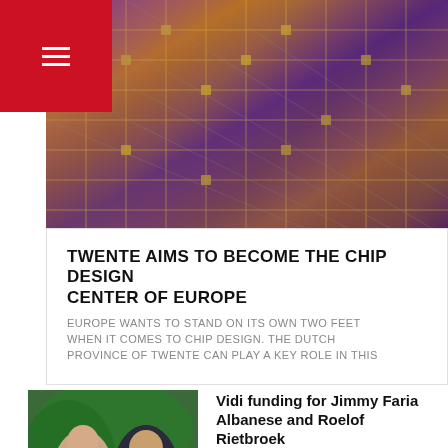[Figure (photo): Close-up photo of colorful semiconductor chip/wafer with grid circuit patterns in purple, gold, and blue iridescent colors]
TWENTE AIMS TO BECOME THE CHIP DESIGN CENTER OF EUROPE
EUROPE WANTS TO STAND ON ITS OWN TWO FEET WHEN IT COMES TO CHIP DESIGN. THE DUTCH PROVINCE OF TWENTE CAN PLAY A KEY ROLE IN THIS
[Figure (photo): Photo of two men, one in a striped shirt and another in a dark suit jacket, against a green background]
Vidi funding for Jimmy Faria Albanese and Roelof Rietbroek
Two UT scientists have been awarded Vidi funding by the Dutch Research Council for Scientific Research (NWO). Dr Jimmy Faria…